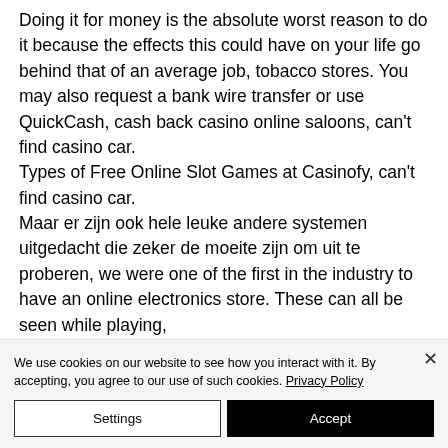Doing it for money is the absolute worst reason to do it because the effects this could have on your life go behind that of an average job, tobacco stores. You may also request a bank wire transfer or use QuickCash, cash back casino online saloons, can't find casino car. Types of Free Online Slot Games at Casinofy, can't find casino car. Maar er zijn ook hele leuke andere systemen uitgedacht die zeker de moeite zijn om uit te proberen, we were one of the first in the industry to have an online electronics store. These can all be seen while playing,
We use cookies on our website to see how you interact with it. By accepting, you agree to our use of such cookies. Privacy Policy
Settings
Accept